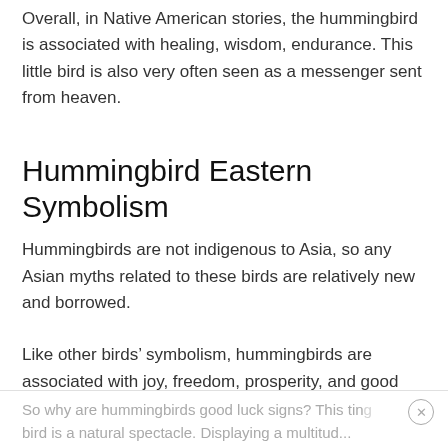Overall, in Native American stories, the hummingbird is associated with healing, wisdom, endurance. This little bird is also very often seen as a messenger sent from heaven.
Hummingbird Eastern Symbolism
Hummingbirds are not indigenous to Asia, so any Asian myths related to these birds are relatively new and borrowed.
Like other birds’ symbolism, hummingbirds are associated with joy, freedom, prosperity, and good luck.
So why are hummingbirds good luck signs? This tiny bird is a natural spectacle. Displaying a multitude...